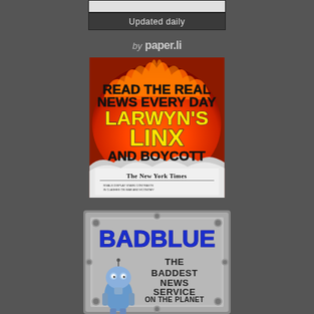[Figure (other): Gray box with 'Updated daily' label and lighter bar above]
by paper.li
[Figure (illustration): Larwyn's Linx and Boycott The New York Times promotional image with fire background and bold yellow/black text reading READ THE REAL NEWS EVERY DAY LARWYN'S LINX AND BOYCOTT over a New York Times front page]
[Figure (illustration): BadBlue - The Baddest News Service On The Planet logo with metallic frame, robot character, and blue bold text]